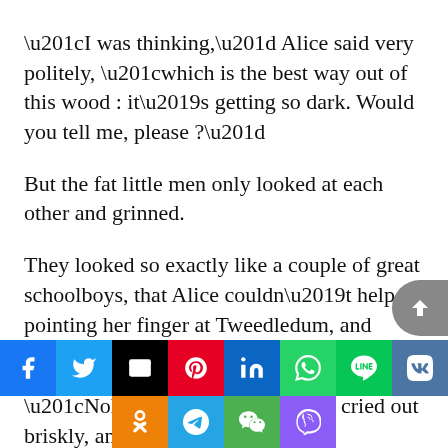“I was thinking,” Alice said very politely, “which is the best way out of this wood : it’s getting so dark. Would you tell me, please ?”
But the fat little men only looked at each other and grinned.
They looked so exactly like a couple of great schoolboys, that Alice couldn’t help pointing her finger at Tweedledum, and saying, “First Boy!”
“Nohow!” Tweedledum cried out briskly, and